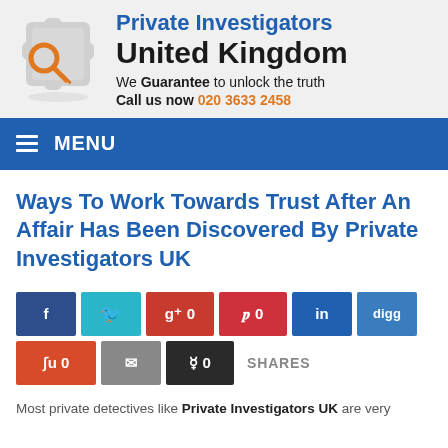[Figure (logo): Private Investigators United Kingdom logo: puzzle piece with orange key ring, beside text 'Private Investigators United Kingdom, We Guarantee to unlock the truth, Call us now 020 3633 2458']
MENU
Ways To Work Towards Trust After An Affair Has Been Discovered By Private Investigators UK
[Figure (infographic): Social sharing buttons: Facebook, Twitter, Google+ 0, Pinterest 0, LinkedIn, Digg, StumbleUpon 0, Email, Reddit 0, and SHARES label]
Most private detectives like Private Investigators UK are very